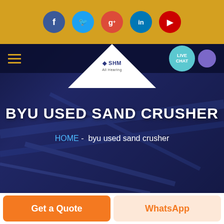Social media icons: Facebook, Twitter, Google+, LinkedIn, YouTube
[Figure (screenshot): Website header with SHM logo, hamburger menu, live chat button, hero banner showing BYU USED SAND CRUSHER title with breadcrumb HOME - byu used sand crusher, and bottom CTA buttons Get a Quote and WhatsApp]
BYU USED SAND CRUSHER
HOME  -  byu used sand crusher
Get a Quote
WhatsApp